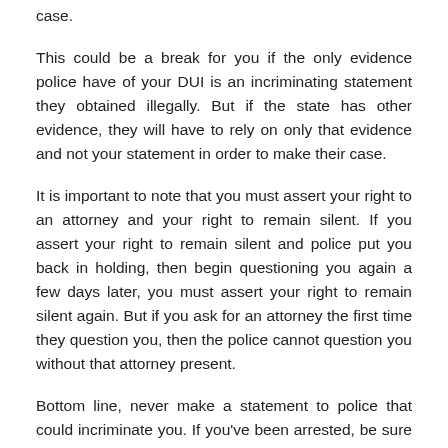case.
This could be a break for you if the only evidence police have of your DUI is an incriminating statement they obtained illegally. But if the state has other evidence, they will have to rely on only that evidence and not your statement in order to make their case.
It is important to note that you must assert your right to an attorney and your right to remain silent. If you assert your right to remain silent and police put you back in holding, then begin questioning you again a few days later, you must assert your right to remain silent again. But if you ask for an attorney the first time they question you, then the police cannot question you without that attorney present.
Bottom line, never make a statement to police that could incriminate you. If you've been arrested, be sure to ask for an attorney and stay silent until one arrives. If police continue to question you after you have asserted your right to remain silent or asked for an attorney, then they are in